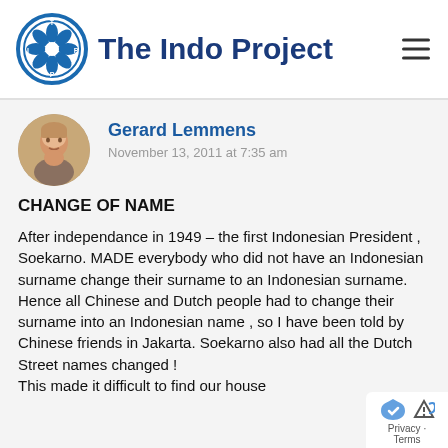The Indo Project
Gerard Lemmens
November 13, 2011 at 7:35 am
CHANGE OF NAME
After independance in 1949 – the first Indonesian President , Soekarno. MADE everybody who did not have an Indonesian surname change their surname to an Indonesian surname. Hence all Chinese and Dutch people had to change their surname into an Indonesian name , so I have been told by Chinese friends in Jakarta. Soekarno also had all the Dutch Street names changed !
This made it difficult to find our house